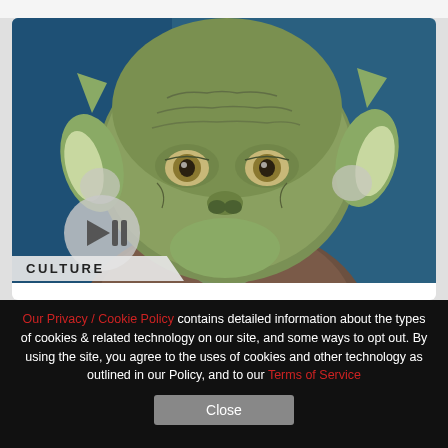[Figure (photo): Close-up photo of a Yoda puppet/replica head with green skin, large ears, and textured wrinkled face, on a blue background. A circular play button icon is overlaid on the lower-left of the image.]
CULTURE
Making The Perfect Yoda Puppet Replica
Creature effects artists Nick Maley worked
Our Privacy / Cookie Policy contains detailed information about the types of cookies & related technology on our site, and some ways to opt out. By using the site, you agree to the uses of cookies and other technology as outlined in our Policy, and to our Terms of Service